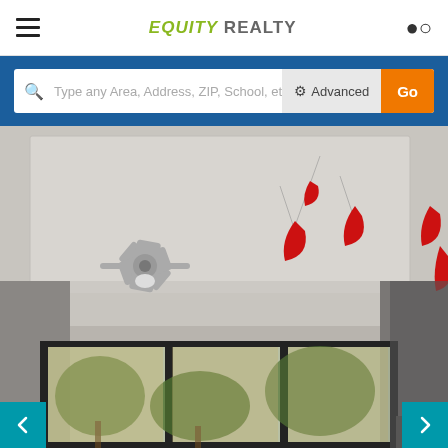Equity Realty
Type any Area, Address, ZIP, School, et
[Figure (photo): Interior room photo showing ceiling with decorative red mobile pieces, a ceiling fan on the left, and large sliding glass doors at the bottom revealing outdoor trees. The room has light gray/beige walls and white crown molding.]